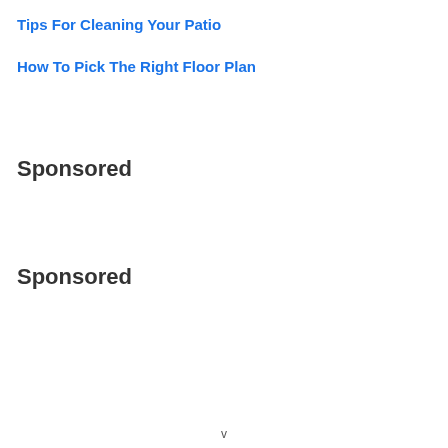Tips For Cleaning Your Patio
How To Pick The Right Floor Plan
Sponsored
Sponsored
v